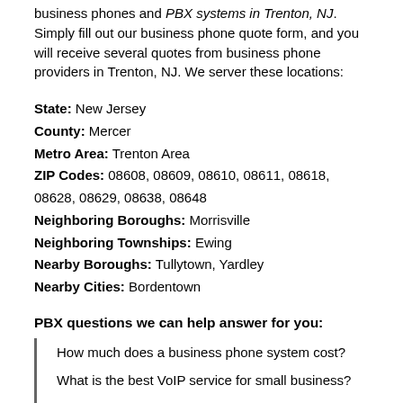business phones and PBX systems in Trenton, NJ. Simply fill out our business phone quote form, and you will receive several quotes from business phone providers in Trenton, NJ. We server these locations:
State: New Jersey
County: Mercer
Metro Area: Trenton Area
ZIP Codes: 08608, 08609, 08610, 08611, 08618, 08628, 08629, 08638, 08648
Neighboring Boroughs: Morrisville
Neighboring Townships: Ewing
Nearby Boroughs: Tullytown, Yardley
Nearby Cities: Bordentown
PBX questions we can help answer for you:
How much does a business phone system cost?
What is the best VoIP service for small business?
How long should a business phone system last?